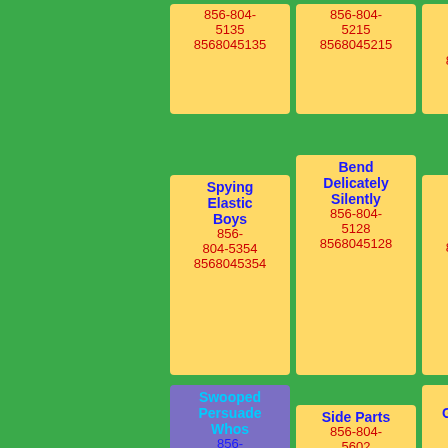856-804-5135 8568045135
856-804-5215 8568045215
Kings 856-804-5255 8568045255
Spying Elastic Boys 856-804-5354 8568045354
Bend Delicately Silently 856-804-5128 8568045128
Knee Difference 856-804-5159 8568045159
Swooped Persuade Whos 856-804-5096 8568045096
Side Parts 856-804-5602 8568045602
Packages Gentlemans 856-804-5399 8568045399
Awake Advice 856-804-5408
Lead Shaggy 856-804-5453
Careless 856-804-5667